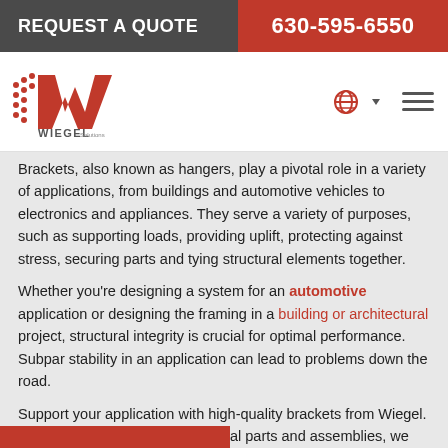REQUEST A QUOTE   630-595-6550
[Figure (logo): Wiegel Solutions Manufacturer logo with red stylized W and speed lines]
Brackets, also known as hangers, play a pivotal role in a variety of applications, from buildings and automotive vehicles to electronics and appliances. They serve a variety of purposes, such as supporting loads, providing uplift, protecting against stress, securing parts and tying structural elements together.
Whether you're designing a system for an automotive application or designing the framing in a building or architectural project, structural integrity is crucial for optimal performance. Subpar stability in an application can lead to problems down the road.
Support your application with high-quality brackets from Wiegel. As a top supplier of stamped metal parts and assemblies, we specialize in the manufacture of brackets used in applications across an array of business sectors.